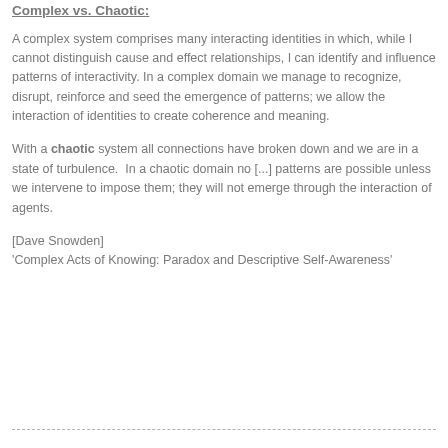Complex vs. Chaotic:
A complex system comprises many interacting identities in which, while I cannot distinguish cause and effect relationships, I can identify and influence patterns of interactivity. In a complex domain we manage to recognize, disrupt, reinforce and seed the emergence of patterns; we allow the interaction of identities to create coherence and meaning.
With a chaotic system all connections have broken down and we are in a state of turbulence. In a chaotic domain no [...] patterns are possible unless we intervene to impose them; they will not emerge through the interaction of agents.
[Dave Snowden]
'Complex Acts of Knowing: Paradox and Descriptive Self-Awareness'